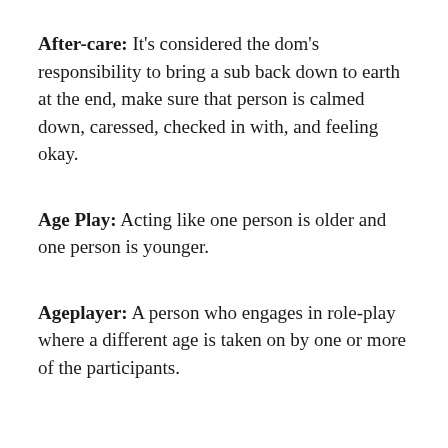After-care: It's considered the dom's responsibility to bring a sub back down to earth at the end, make sure that person is calmed down, caressed, checked in with, and feeling okay.
Age Play: Acting like one person is older and one person is younger.
Ageplayer: A person who engages in role-play where a different age is taken on by one or more of the participants.